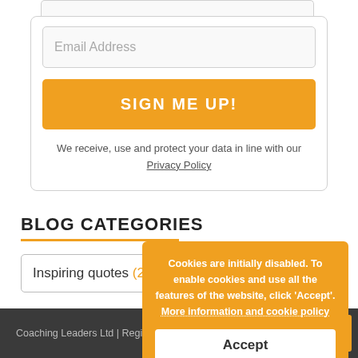[Figure (screenshot): Email address input field within a sign-up form card]
Email Address
SIGN ME UP!
We receive, use and protect your data in line with our Privacy Policy
BLOG CATEGORIES
Inspiring quotes (28)
Cookies are initially disabled. To enable cookies and use all the features of the website, click 'Accept'. More information and cookie policy
Accept
Coaching Leaders Ltd | Registered in England No: 03445765